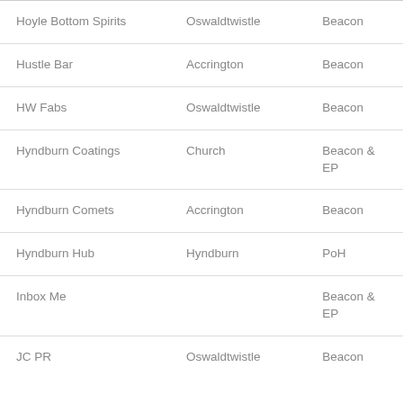| Hoyle Bottom Spirits | Oswaldtwistle | Beacon |
| Hustle Bar | Accrington | Beacon |
| HW Fabs | Oswaldtwistle | Beacon |
| Hyndburn Coatings | Church | Beacon & EP |
| Hyndburn Comets | Accrington | Beacon |
| Hyndburn Hub | Hyndburn | PoH |
| Inbox Me |  | Beacon & EP |
| JC PR | Oswaldtwistle | Beacon |